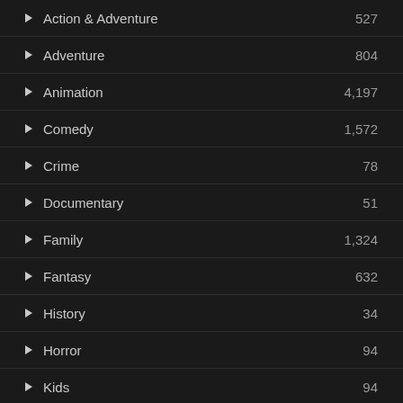Action & Adventure — 527
Adventure — 804
Animation — 4,197
Comedy — 1,572
Crime — 78
Documentary — 51
Family — 1,324
Fantasy — 632
History — 34
Horror — 94
Kids — 94